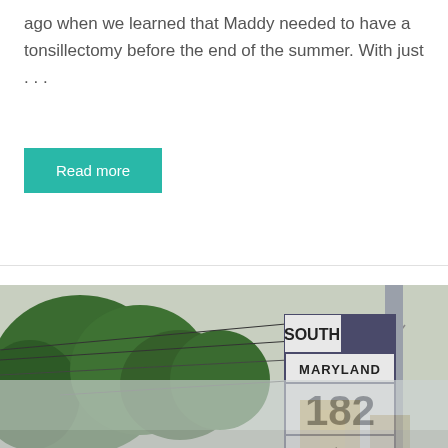ago when we learned that Maddy needed to have a tonsillectomy before the end of the summer. With just . . .
Read more
[Figure (photo): Photograph of a Maryland Route 182 South road sign with a left-arrow directional sign below it, surrounded by trees and utility wires.]
[Figure (photo): Partially visible lower portion of a photo, appears to show buildings or a street scene, faded/translucent.]